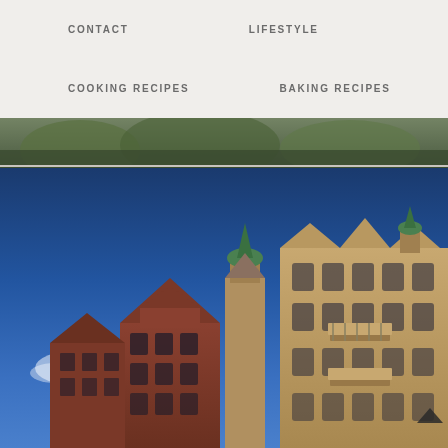CONTACT   LIFESTYLE   COOKING RECIPES   BAKING RECIPES
[Figure (photo): Top partial image strip showing green foliage/trees against a dark background]
[Figure (photo): Photograph of historic European-style buildings with ornate architecture including towers with green copper domes against a blue sky. Left building is red brick with pointed gables, right building is sandy-colored with balconies and arched windows.]